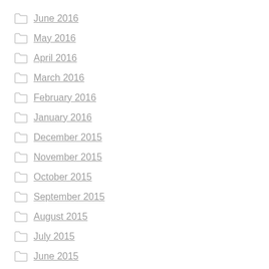June 2016
May 2016
April 2016
March 2016
February 2016
January 2016
December 2015
November 2015
October 2015
September 2015
August 2015
July 2015
June 2015